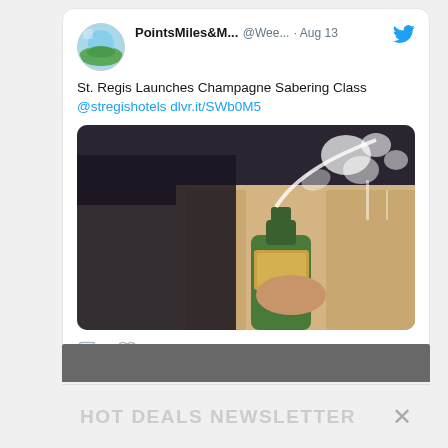[Figure (screenshot): Twitter/social media card showing a tweet from PointsMiles&M... (@Wee...) dated Aug 13, with text 'St. Regis Launches Champagne Sabering Class @stregishotels dlvr.it/SWb0M5' and a photo of a champagne bottle being sabered, along with comment and like icons.]
HOT DEALS NEWSLETTER ×